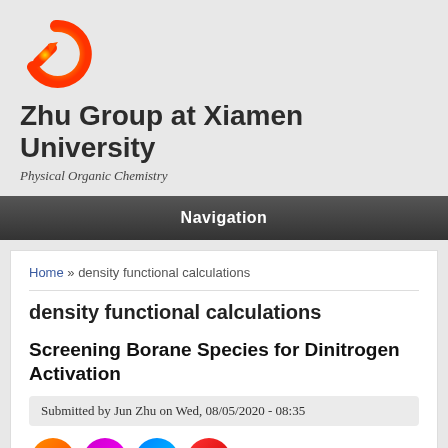[Figure (logo): Zhu Group logo: stylized Q-arrow in orange/red gradient circle]
Zhu Group at Xiamen University
Physical Organic Chemistry
Navigation
Home » density functional calculations
density functional calculations
Screening Borane Species for Dinitrogen Activation
Submitted by Jun Zhu on Wed, 08/05/2020 - 08:35